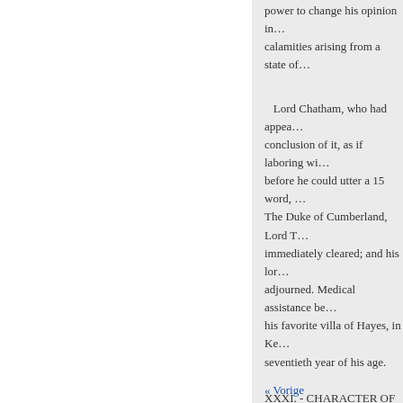power to change his opinion in… calamities arising from a state of…
Lord Chatham, who had appea… conclusion of it, as if laboring wi… before he could utter a 15 word, … The Duke of Cumberland, Lord T… immediately cleared; and his lor… adjourned. Medical assistance be… his favorite villa of Hayes, in Ke… seventieth year of his age.
XXXI. - CHARACTER OF C…
GRATTAN.
[HENRY GRATTAN, the cele… in London May 14, 1820. He ent… great energy and eloquence, to li… languished. The ability and coura… of the Irish people. He opposed t… where he maintained the cause a… advocate of Roman Catholic ema…
« Vorige